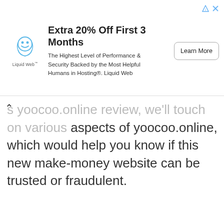[Figure (other): Advertisement banner for Liquid Web: 'Extra 20% Off First 3 Months' with Liquid Web logo, description text, and Learn More button.]
s yoocoo.online review, we'll touch on various aspects of yoocoo.online, which would help you know if this new make-money website can be trusted or fraudulent.